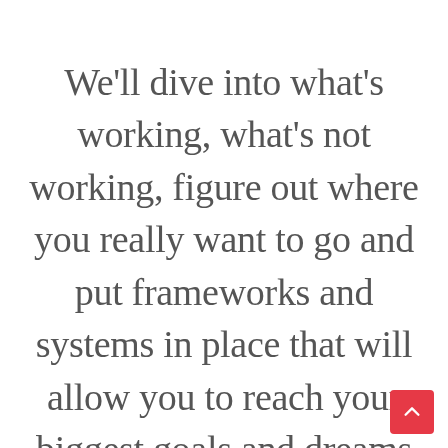We'll dive into what's working, what's not working, figure out where you really want to go and put frameworks and systems in place that will allow you to reach your biggest goals and dreams without pulling your hair out